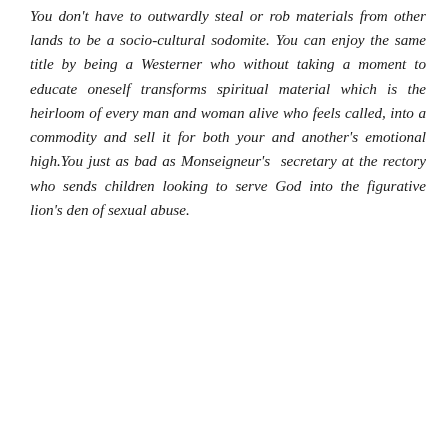You don't have to outwardly steal or rob materials from other lands to be a socio-cultural sodomite. You can enjoy the same title by being a Westerner who without taking a moment to educate oneself transforms spiritual material which is the heirloom of every man and woman alive who feels called, into a commodity and sell it for both your and another's emotional high.You just as bad as Monseigneur's  secretary at the rectory who sends children looking to serve God into the figurative lion's den of sexual abuse.